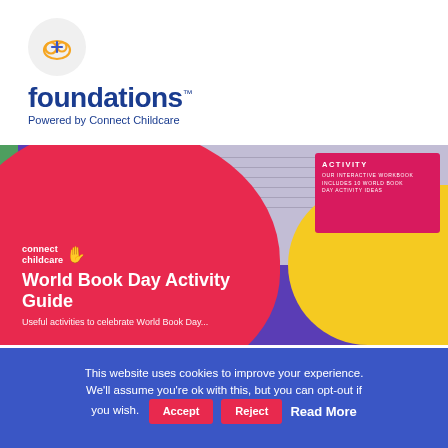[Figure (logo): Foundations logo — circular icon with cloud and plus sign above text 'foundations™ Powered by Connect Childcare' in navy blue]
[Figure (photo): World Book Day Activity Guide promotional image showing a red blob background with 'World Book Day Activity Guide' title, Connect Childcare branding, subtitle 'Useful activities to celebrate World Book Day...', and a pink activity workbook card in the top right area on a yellow/purple background]
This website uses cookies to improve your experience. We'll assume you're ok with this, but you can opt-out if you wish.
Accept
Reject
Read More